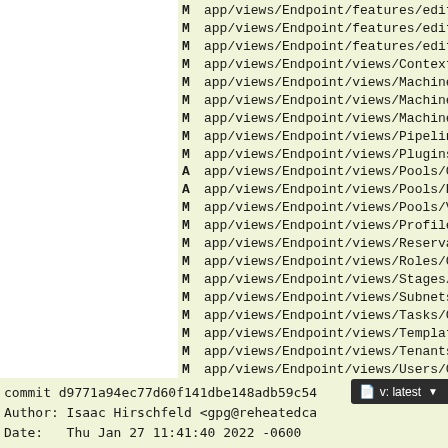M app/views/Endpoint/features/editor/c
M app/views/Endpoint/features/editor/t
M app/views/Endpoint/features/editor/t
M app/views/Endpoint/views/Contexts/Cr
M app/views/Endpoint/views/Machines/Cl
M app/views/Endpoint/views/Machines/Ma
M app/views/Endpoint/views/Machines/Re
M app/views/Endpoint/views/Pipelines/C
M app/views/Endpoint/views/Plugins/Cre
A app/views/Endpoint/views/Pools/Creat
A app/views/Endpoint/views/Pools/Edito
M app/views/Endpoint/views/Pools/View.
M app/views/Endpoint/views/Profiles/Cr
M app/views/Endpoint/views/Reservation
M app/views/Endpoint/views/Roles/Creat
M app/views/Endpoint/views/Stages/Crea
M app/views/Endpoint/views/Subnets/Cre
M app/views/Endpoint/views/Tasks/Creat
M app/views/Endpoint/views/Templates/C
M app/views/Endpoint/views/Tenants/Cre
M app/views/Endpoint/views/Users/Creat
M app/views/Endpoint/views/WorkOrders/
M app/views/Endpoint/views/WorkOrders/
M app/views/Endpoint/views/Wor
commit d9771a94ec77d60f141dbe148adb59c54
Author: Isaac Hirschfeld <gpg@reheatedca
Date:   Thu Jan 27 11:41:40 2022 -0600